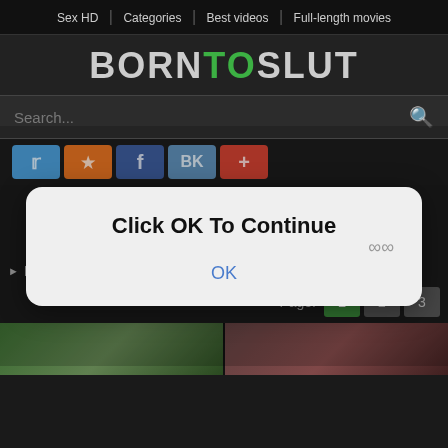Sex HD | Categories | Best videos | Full-length movies
BORNTOSLUT
Search...
[Figure (screenshot): Social sharing buttons: Twitter, OK, Facebook, VK, Google+]
[Figure (screenshot): Modal dialog overlay with text 'Click OK To Continue' and an OK button]
Bath Free Porn Videos - BornToSlut
Page: 1 2 3
[Figure (photo): Two video thumbnails at the bottom of the page]